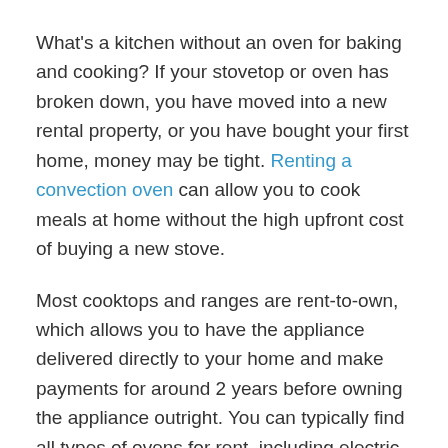What's a kitchen without an oven for baking and cooking? If your stovetop or oven has broken down, you have moved into a new rental property, or you have bought your first home, money may be tight. Renting a convection oven can allow you to cook meals at home without the high upfront cost of buying a new stove.
Most cooktops and ranges are rent-to-own, which allows you to have the appliance delivered directly to your home and make payments for around 2 years before owning the appliance outright. You can typically find all types of ovens for rent, including electric or gas, commercial, and burners or a smooth cooktop.